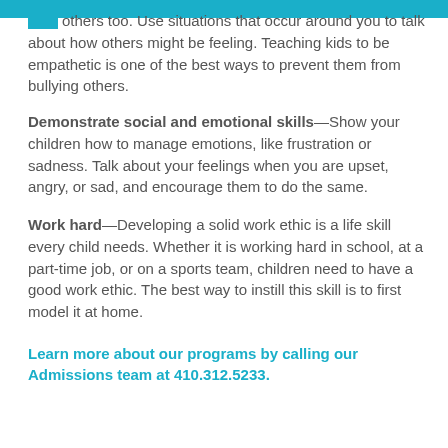others too. Use situations that occur around you to talk about how others might be feeling. Teaching kids to be empathetic is one of the best ways to prevent them from bullying others.
Demonstrate social and emotional skills—Show your children how to manage emotions, like frustration or sadness. Talk about your feelings when you are upset, angry, or sad, and encourage them to do the same.
Work hard—Developing a solid work ethic is a life skill every child needs. Whether it is working hard in school, at a part-time job, or on a sports team, children need to have a good work ethic. The best way to instill this skill is to first model it at home.
Learn more about our programs by calling our Admissions team at 410.312.5233.